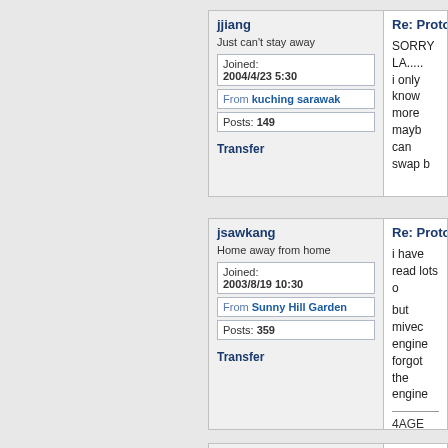jjiang
Just can't stay away
Joined: 2004/4/23 5:30
From kuching sarawak
Posts: 149
Transfer
Re: Proton Wira
SORRY LA..... i only know more mayb can swap b
jsawkang
Home away from home
Joined: 2003/8/19 10:30
From Sunny Hill Garden
Posts: 359
Transfer
Re: Proton Wira
i have read lots o but mivec engine forgot the engine 4AGE
shialing
Re: Proton Wira